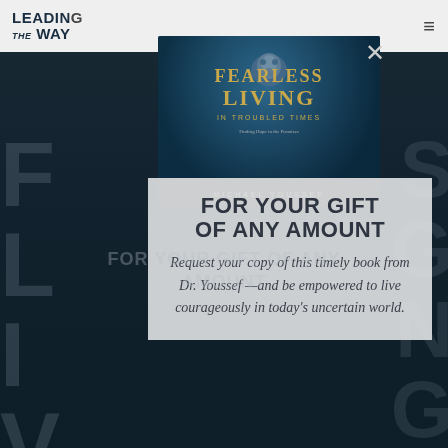[Figure (logo): Leading The Way logo in top left corner]
[Figure (photo): Book cover for 'Fearless Living In Troubled Times' by Michael Youssef, with lion image on teal/blue background]
FOR YOUR GIFT OF ANY AMOUNT
Request your copy of this timely book from Dr. Youssef —and be empowered to live courageously in today's uncertain world.